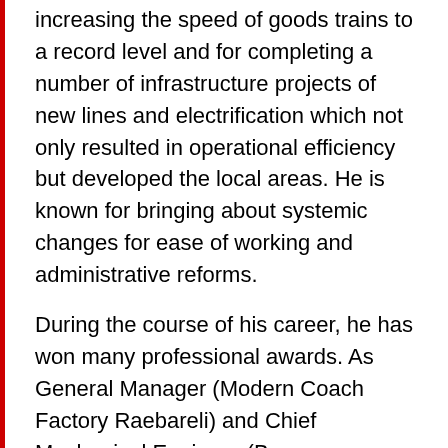increasing the speed of goods trains to a record level and for completing a number of infrastructure projects of new lines and electrification which not only resulted in operational efficiency but developed the local areas. He is known for bringing about systemic changes for ease of working and administrative reforms.
During the course of his career, he has won many professional awards. As General Manager (Modern Coach Factory Raebareli) and Chief Mechanical Engineer (Banaras Locomotive Works)) the factories won the award for best production units.
Suneet Sharma has attended professional training in Germany and France and he has done an advanced leadership and management course at Carnegie Mellon University in USA. He has visited Iran as a consultant for manufacture of locomotives.